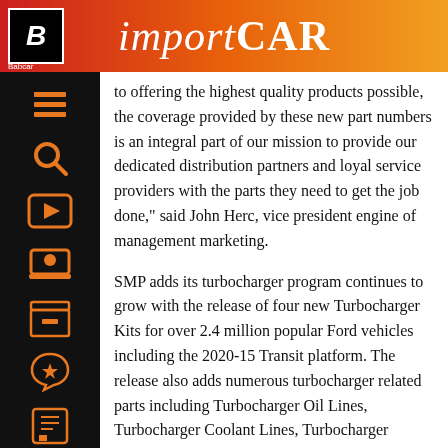importCAR
to offering the highest quality products possible, the coverage provided by these new part numbers is an integral part of our mission to provide our dedicated distribution partners and loyal service providers with the parts they need to get the job done,” said John Herc, vice president engine of management marketing.
SMP adds its turbocharger program continues to grow with the release of four new Turbocharger Kits for over 2.4 million popular Ford vehicles including the 2020-15 Transit platform. The release also adds numerous turbocharger related parts including Turbocharger Oil Lines, Turbocharger Coolant Lines, Turbocharger Bypass Valves, and Charge Air Coolers.